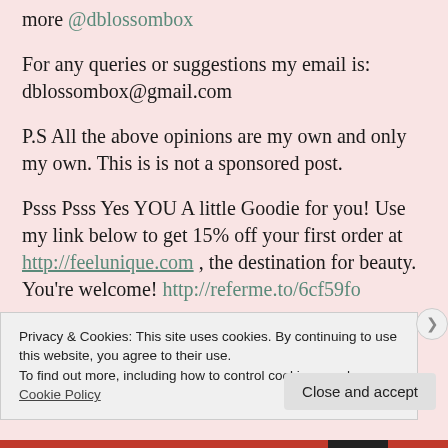more @dblossombox
For any queries or suggestions my email is: dblossombox@gmail.com
P.S All the above opinions are my own and only my own. This is is not a sponsored post.
Psss Psss Yes YOU A little Goodie for you! Use my link below to get 15% off your first order at http://feelunique.com , the destination for beauty. You're welcome! http://referme.to/6cf59fo
Privacy & Cookies: This site uses cookies. By continuing to use this website, you agree to their use.
To find out more, including how to control cookies, see here:
Cookie Policy
Close and accept